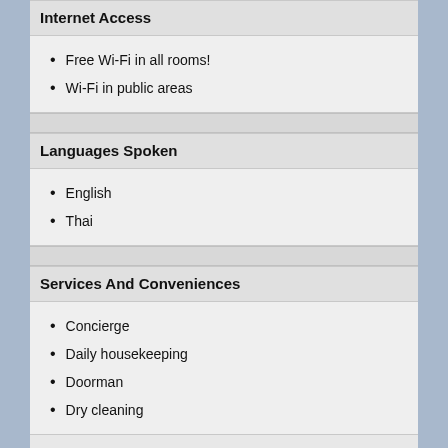Internet Access
Free Wi-Fi in all rooms!
Wi-Fi in public areas
Languages Spoken
English
Thai
Services And Conveniences
Concierge
Daily housekeeping
Doorman
Dry cleaning